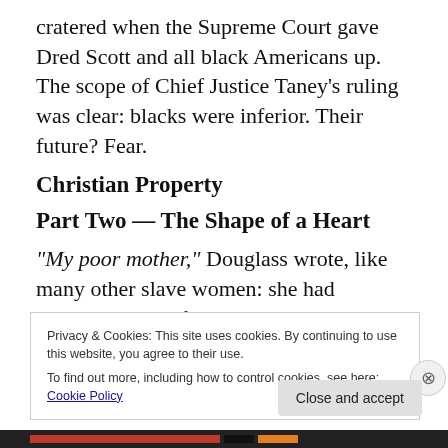cratered when the Supreme Court gave Dred Scott and all black Americans up. The scope of Chief Justice Taney's ruling was clear: blacks were inferior. Their future? Fear.
Christian Property
Part Two — The Shape of a Heart
“My poor mother,” Douglass wrote, like many other slave women: she had children, but no family. She could be lawfully sold off or raped, and not live within a distance to visit or protect, teach or love the child she created. Legal
Privacy & Cookies: This site uses cookies. By continuing to use this website, you agree to their use.
To find out more, including how to control cookies, see here: Cookie Policy
Close and accept